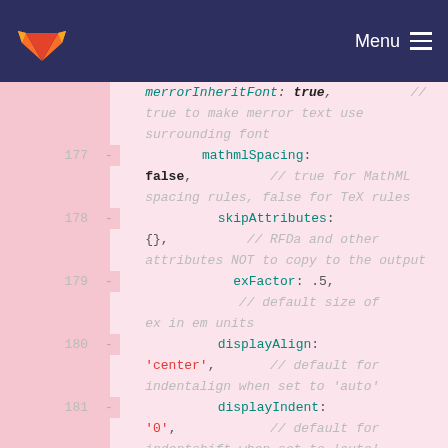[Figure (screenshot): GitLab navigation bar with logo and Menu button on dark navy background]
merrorInheritFont: true,  // true to make merror text use surrounding font
177 - mathmlSpacing: false, // true for MathML spacing rules, false for TeX rules
178 - skipAttributes: {}, // RFDa and other attributes NOT to copy to the output
179 - exFactor: .5, // default size of ex in em units
180 - displayAlign: 'center', // default for indentalign when set to 'auto'
181 - displayIndent: '0', // default for indentshift when set to 'auto'
182 - fontCache: 'none', // or 'global'